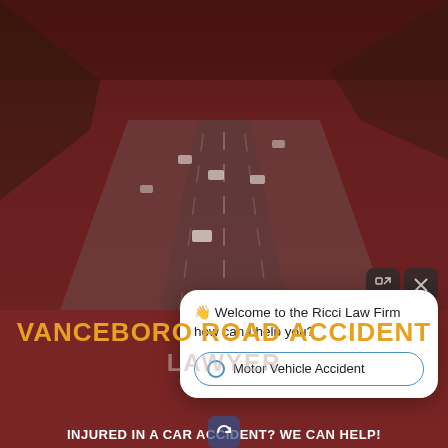[Figure (photo): Aerial/overhead view of a highway with multiple lanes and cars, color-graded with a dark red/maroon overlay. Background image for a law firm website about car accidents.]
[Figure (screenshot): Chat popup widget overlay on the webpage reading: '👋 Welcome to the Ricci Law Firm how can I help you?' with a button option 'Motor Vehicle Accident'. Two control buttons (expand and close) appear above the popup. A refresh icon appears at the bottom.]
VANCEBORO ROAD ACCIDENT LAWYER
INJURED IN A CAR ACCIDENT? WE CAN HELP!